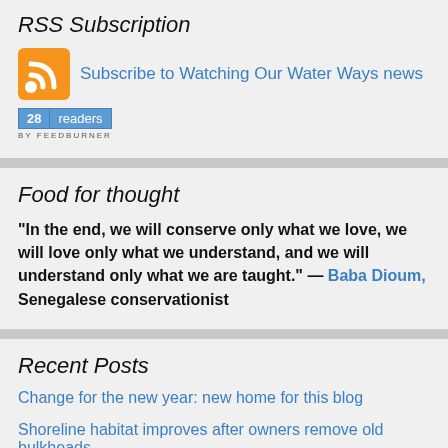RSS Subscription
Subscribe to Watching Our Water Ways news
[Figure (other): FeedBurner reader count badge showing 28 readers]
Food for thought
"In the end, we will conserve only what we love, we will love only what we understand, and we will understand only what we are taught." — Baba Dioum, Senegalese conservationist
Recent Posts
Change for the new year: new home for this blog
Shoreline habitat improves after owners remove old bulkheads
Amusing Monday: Nature photographers reach beyond ordinary